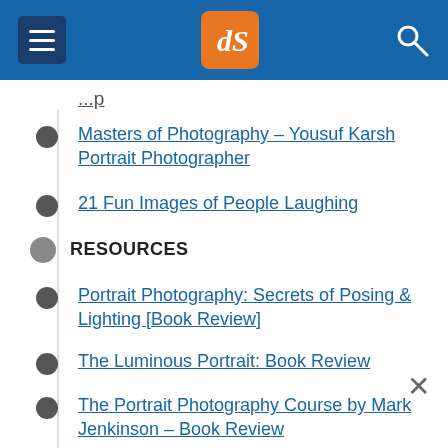dPS navigation header
...p (truncated link at top)
Masters of Photography – Yousuf Karsh Portrait Photographer
21 Fun Images of People Laughing
RESOURCES
Portrait Photography: Secrets of Posing & Lighting [Book Review]
The Luminous Portrait: Book Review
The Portrait Photography Course by Mark Jenkinson – Book Review
The Perfect Portrait Guide – How to...